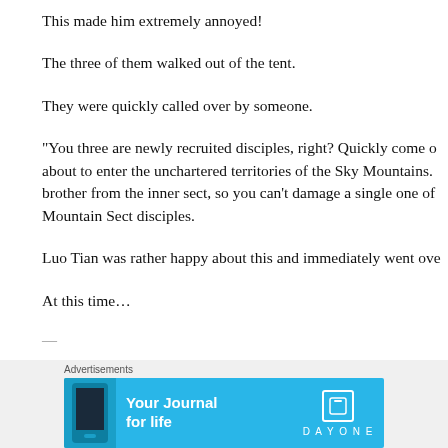This made him extremely annoyed!
The three of them walked out of the tent.
They were quickly called over by someone.
“You three are newly recruited disciples, right? Quickly come o… about to enter the unchartered territories of the Sky Mountains. … brother from the inner sect, so you can’t damage a single one of… Mountain Sect disciples.
Luo Tian was rather happy about this and immediately went ove…
At this time…
…
[Figure (infographic): Blue banner advertisement for Day One app reading 'Your Journal for life' with DAYONE logo and phone image. Preceded by 'Advertisements' label. Close button (X) visible top right of ad area.]